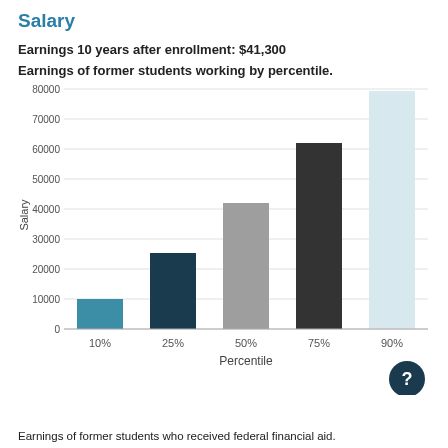Salary
Earnings 10 years after enrollment: $41,300
Earnings of former students working by percentile.
[Figure (bar-chart): Earnings of former students working by percentile.]
Earnings of former students who received federal financial aid.